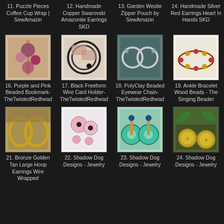11. Puzzle Pieces Coffee Cup Wrap | SewAmazin
12. Handmade Copper Swarovski Amazonite Earrings SKD
13. Garden Westie Zipper Pouch by SewAmazin
14. Handmade Silver Red Earrings Heart In Hands SKD
[Figure (photo): Purple and pink beaded bookmark jewelry]
16. Purple and Pink Beaded Bookmark- TheTwistedRedhead
[Figure (photo): Black freeform wire card holder]
17. Black Freeform Wire Card Holder- TheTwistedRedhead
[Figure (photo): PolyClay beaded eyewear chain]
18. PolyClay Beaded Eyewear Chain- TheTwistedRedhead
[Figure (photo): Ankle bracelet with wood beads]
19. Ankle Bracelet Wood Beads - The Singing Beader
[Figure (photo): Bronze golden tan large hoop earrings wire wrapped]
21. Bronze Golden Tan Large Hoop Earrings Wire Wrapped
[Figure (photo): Shadow Dog Designs jewelry pink beads]
22. Shadow Dog Designs - Jewelry
[Figure (photo): Shadow Dog Designs turquoise earrings]
23. Shadow Dog Designs - Jewelry
[Figure (photo): Shadow Dog Designs gold coin earrings]
24. Shadow Dog Designs - Jewelry